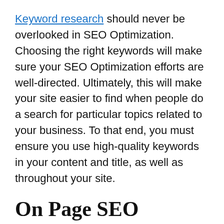Keyword research should never be overlooked in SEO Optimization. Choosing the right keywords will make sure your SEO Optimization efforts are well-directed. Ultimately, this will make your site easier to find when people do a search for particular topics related to your business. To that end, you must ensure you use high-quality keywords in your content and title, as well as throughout your site.
On Page SEO Optimization:
On-Page SEO is a huge factor in the success of any SEO Optimization plan. Experts recommend picking a main goal for your SEO Optimization strategy and